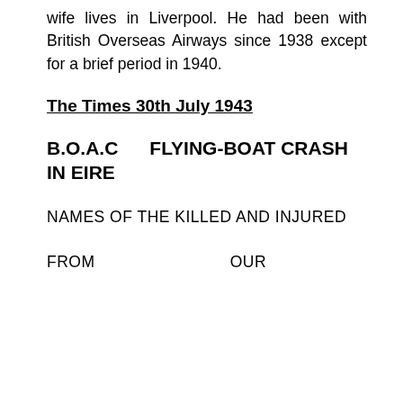wife lives in Liverpool. He had been with British Overseas Airways since 1938 except for a brief period in 1940.
The Times 30th July 1943
B.O.A.C FLYING-BOAT CRASH IN EIRE
NAMES OF THE KILLED AND INJURED
FROM OUR